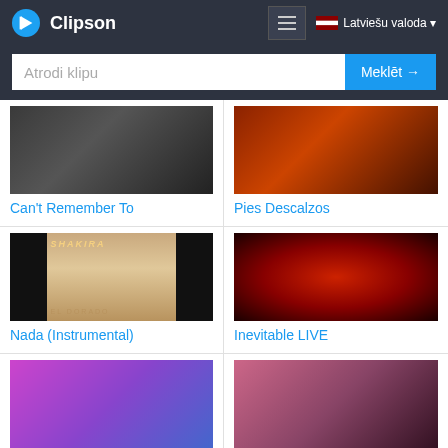Clipson — Atrodi klipu — Meklēt → — Latviešu valoda
[Figure (screenshot): Thumbnail for Can't Remember To music video]
Can't Remember To
[Figure (screenshot): Thumbnail for Pies Descalzos music video]
Pies Descalzos
[Figure (screenshot): Shakira El Dorado album cover thumbnail for Nada (Instrumental)]
Nada (Instrumental)
[Figure (screenshot): Red concert lighting thumbnail for Inevitable LIVE]
Inevitable LIVE
[Figure (screenshot): Concert stage thumbnail for Did it again]
Did it again
[Figure (screenshot): Music video thumbnail for Nunca Me Acuerdo]
Nunca Me Acuerdo